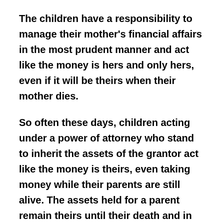The children have a responsibility to manage their mother's financial affairs in the most prudent manner and act like the money is hers and only hers, even if it will be theirs when their mother dies.
So often these days, children acting under a power of attorney who stand to inherit the assets of the grantor act like the money is theirs, even taking money while their parents are still alive. The assets held for a parent remain theirs until their death and in this case, the principal residence exemption remains that of the parent as well. The potential tax liability has more to do with technicalities than ownership.